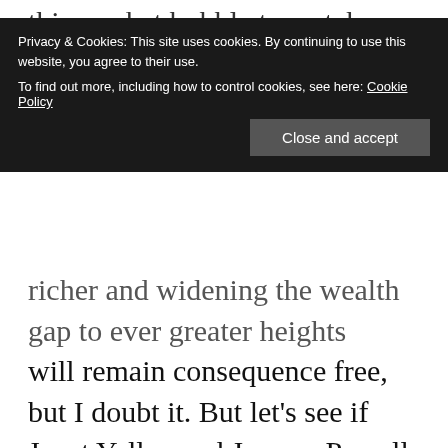this market bubble to watch. While the first real correction
[Figure (screenshot): Cookie consent banner with dark background. Text reads: 'Privacy & Cookies: This site uses cookies. By continuing to use this website, you agree to their use. To find out more, including how to control cookies, see here: Cookie Policy'. A 'Close and accept' button appears in the lower right.]
richer and widening the wealth gap to ever greater heights will remain consequence free, but I doubt it. But let's see if Janet Yellen and Jerome Powell, aside from Ben Bernanke the key architects of this wealth gap construct will come under fire from Congress this week as they make their first joint appearances. I won't hold my breath, but perhaps someone finally wakes up and connects the dots and dares to speak out.
The larger population hardly knows who runs the Fed or what the Fed does or the consequences of their actions and perhaps it is best for the Fed if the people never figure it out. For the record is quite clear: The Fed succeeds in one thing consistently: Making the rich richer while each recovery produces more crumbs for the bottom 50%...